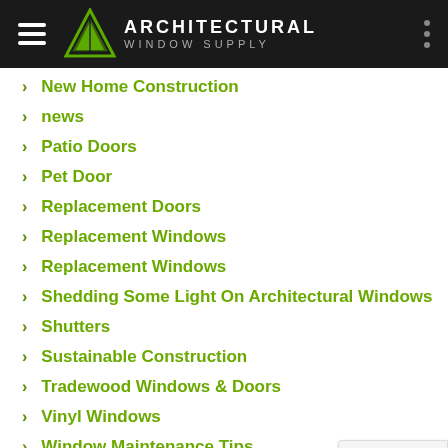ARCHITECTURAL WINDOW SUPPLY
New Home Construction
news
Patio Doors
Pet Door
Replacement Doors
Replacement Windows
Replacement Windows
Shedding Some Light On Architectural Windows
Shutters
Sustainable Construction
Tradewood Windows & Doors
Vinyl Windows
Window Maintenance Tips
Window Materials